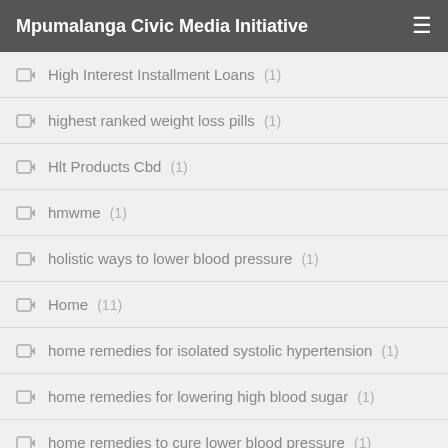Mpumalanga Civic Media Initiative
High Interest Installment Loans (1)
highest ranked weight loss pills (1)
Hlt Products Cbd (1)
hmwme (1)
holistic ways to lower blood pressure (1)
Home (11)
home remedies for isolated systolic hypertension (1)
home remedies for lowering high blood sugar (1)
home remedies to cure lower blood pressure (1)